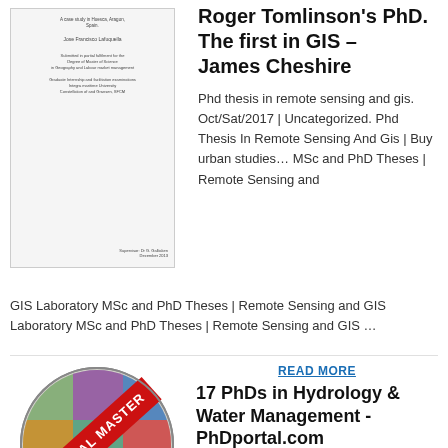[Figure (illustration): Thumbnail of a thesis document cover page with small text lines indicating a case study in Huesca, Aragon, Spain by Jose Francisco Lafuquella, submitted for a Degree of Master of Science in Geography and Labour market management.]
Roger Tomlinson's PhD. The first in GIS – James Cheshire
Phd thesis in remote sensing and gis. Oct/Sat/2017 | Uncategorized. Phd Thesis In Remote Sensing And Gis | Buy urban studies… MSc and PhD Theses | Remote Sensing and GIS Laboratory MSc and PhD Theses | Remote Sensing and GIS Laboratory MSc and PhD Theses | Remote Sensing and GIS …
READ MORE
[Figure (illustration): A circular badge/logo with a collage of satellite/GIS imagery inside, overlaid with a red diagonal banner reading 'OFFICIAL MASTER']
17 PhDs in Hydrology & Water Management - PhDportal.com
St. George Campus. Sidney Smith Hall; 100 St. George Street, Room